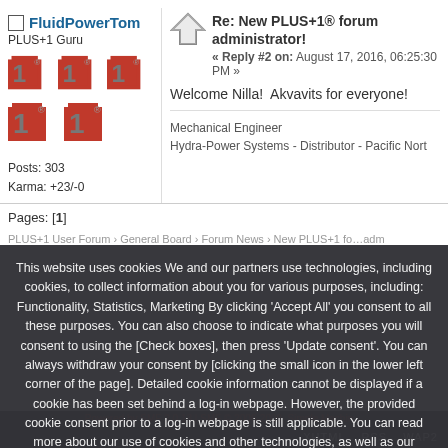FluidPowerTom
PLUS+1 Guru
[Figure (illustration): Five PLUS+1 red and grey badge icons arranged in two rows]
Posts: 303
Karma: +23/-0
Re: New PLUS+1® forum administrator!
« Reply #2 on: August 17, 2016, 06:25:30 PM »
Welcome Nilla!  Akvavits for everyone!
Mechanical Engineer
Hydra-Power Systems - Distributor - Pacific Nort
Pages: [1]
This website uses cookies We and our partners use technologies, including cookies, to collect information about you for various purposes, including: Functionality, Statistics, Marketing By clicking 'Accept All' you consent to all these purposes. You can also choose to indicate what purposes you will consent to using the [Check boxes], then press 'Update consent'. You can always withdraw your consent by [clicking the small icon in the lower left corner of the page]. Detailed cookie information cannot be displayed if a cookie has been set behind a log-in webpage. However, the provided cookie consent prior to a log-in webpage is still applicable. You can read more about our use of cookies and other technologies, as well as our collection and processing of personal data by clicking on the link.
XHTML   RSS   WAP2